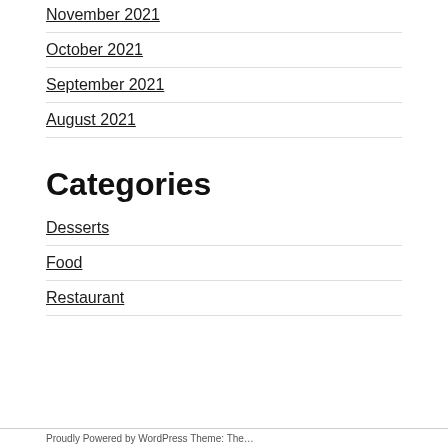November 2021
October 2021
September 2021
August 2021
Categories
Desserts
Food
Restaurant
Proudly Powered by WordPress Theme: The…